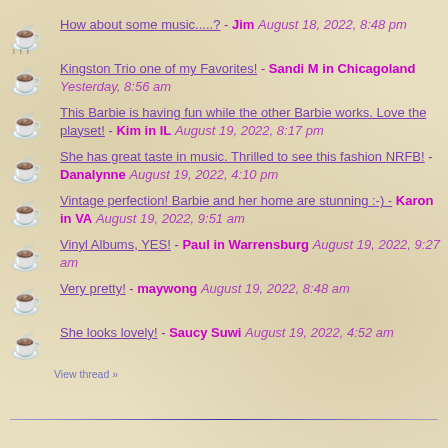How about some music.....? - Jim August 18, 2022, 8:48 pm
Kingston Trio one of my Favorites! - Sandi M in Chicagoland Yesterday, 8:56 am
This Barbie is having fun while the other Barbie works. Love the playset! - Kim in IL August 19, 2022, 8:17 pm
She has great taste in music. Thrilled to see this fashion NRFB! - Danalynne August 19, 2022, 4:10 pm
Vintage perfection! Barbie and her home are stunning :-) - Karon in VA August 19, 2022, 9:51 am
Vinyl Albums, YES! - Paul in Warrensburg August 19, 2022, 9:27 am
Very pretty! - maywong August 19, 2022, 8:48 am
She looks lovely! - Saucy Suwi August 19, 2022, 4:52 am
View thread »